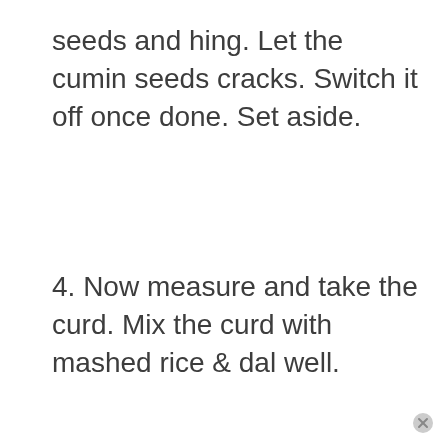seeds and hing. Let the cumin seeds cracks. Switch it off once done. Set aside.
4. Now measure and take the curd. Mix the curd with mashed rice & dal well.